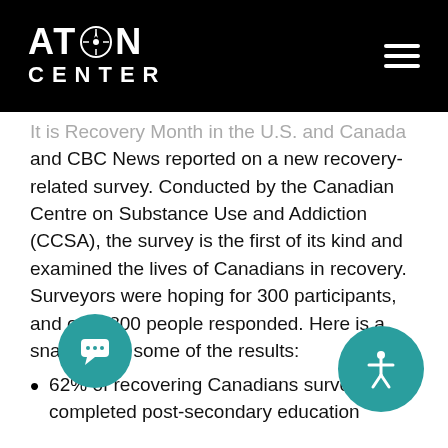ATON CENTER
It is Recovery Month in the U.S. and Canada and CBC News reported on a new recovery-related survey. Conducted by the Canadian Centre on Substance Use and Addiction (CCSA), the survey is the first of its kind and examined the lives of Canadians in recovery. Surveyors were hoping for 300 participants, and over 800 people responded. Here is a snapshot of some of the results:
62% of recovering Canadians surveyed completed post-secondary education